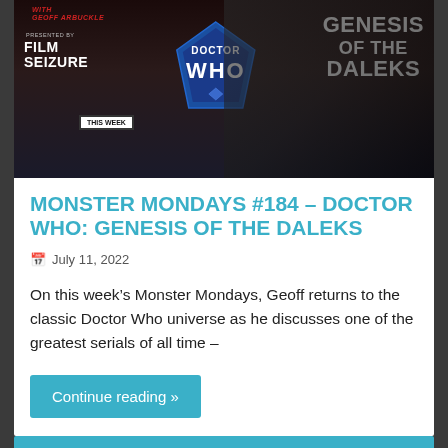[Figure (photo): Hero image for Monster Mondays #184 Doctor Who: Genesis of the Daleks. Dark background with Doctor Who diamond logo in blue, Genesis of the Daleks text on right in white, Film Seizure branding on left in red/white, 'This Week' badge at bottom center.]
MONSTER MONDAYS #184 – DOCTOR WHO: GENESIS OF THE DALEKS
July 11, 2022
On this week's Monster Mondays, Geoff returns to the classic Doctor Who universe as he discusses one of the greatest serials of all time –
Continue reading »